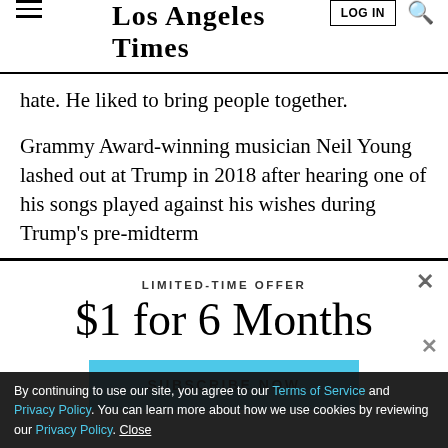Los Angeles Times
hate. He liked to bring people together.
Grammy Award-winning musician Neil Young lashed out at Trump in 2018 after hearing one of his songs played against his wishes during Trump's pre-midterm
LIMITED-TIME OFFER
$1 for 6 Months
SUBSCRIBE NOW
By continuing to use our site, you agree to our Terms of Service and Privacy Policy. You can learn more about how we use cookies by reviewing our Privacy Policy. Close